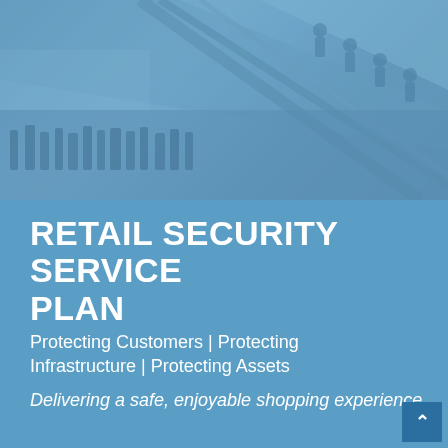[Figure (photo): Photo of a busy retail mall interior with escalators and crowds of shoppers, overlaid with a blue tint]
RETAIL SECURITY SERVICE PLAN
Protecting Customers | Protecting Infrastructure | Protecting Assets
Delivering a safe, enjoyable shopping experience.